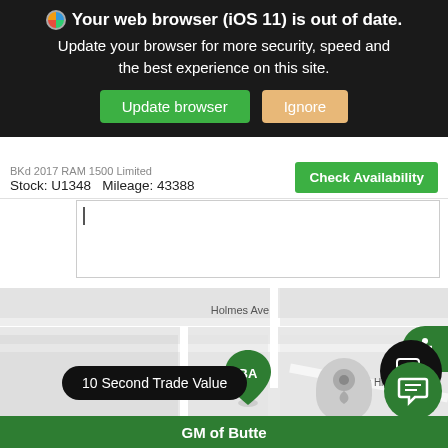[Figure (screenshot): Browser out-of-date warning banner with dark background. Reads: 'Your web browser (iOS 11) is out of date. Update your browser for more security, speed and the best experience on this site.' with green 'Update browser' and tan 'Ignore' buttons.]
Stock: U1348   Mileage: 43388
[Figure (screenshot): Check Availability green button]
[Figure (map): Map showing Holmes Ave street, Mt Highland Dr, with a green BA (Butte Auto) map pin marker, mapbox attribution, accessibility icon, chat button. Shows '10 Second Trade Value' pill button at bottom. GM of Butte green footer bar.]